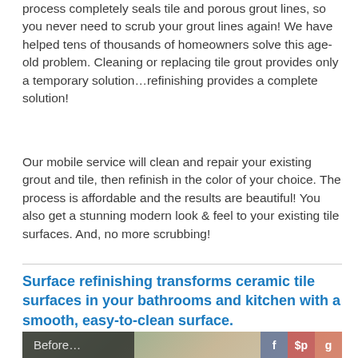process completely seals tile and porous grout lines, so you never need to scrub your grout lines again! We have helped tens of thousands of homeowners solve this age-old problem. Cleaning or replacing tile grout provides only a temporary solution…refinishing provides a complete solution!
Our mobile service will clean and repair your existing grout and tile, then refinish in the color of your choice. The process is affordable and the results are beautiful! You also get a stunning modern look & feel to your existing tile surfaces. And, no more scrubbing!
Surface refinishing transforms ceramic tile surfaces in your bathrooms and kitchen with a smooth, easy-to-clean surface.
[Figure (photo): Before image of bathroom tile surfaces showing greenish/beige ceramic tiles with grout lines, overlaid with a dark semi-transparent banner reading 'Before...' on the left and social media icons (Facebook, Pinterest, Google+) on the right]